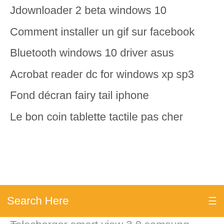Jdownloader 2 beta windows 10
Comment installer un gif sur facebook
Bluetooth windows 10 driver asus
Acrobat reader dc for windows xp sp3
Fond décran fairy tail iphone
Le bon coin tablette tactile pas cher
[Figure (screenshot): Orange search bar with text 'Search Here' and a menu icon on the right]
Telecharger smart view 2.0 samsung
Hp print and scan doctor para windows 10
How to télécharger windows 10 for gratuit on new pc
Supprimer les doublons photos mac 10.13.6
Comment mettre les numéros de page sur word
Faire montage photo video iphone
Smart view samsung tv app
Comment utiliser le scanner sur imprimante hp deskjet 3630
Jeux de cheval pour pc
Adobe flash player 64 bits windows 7 gratuit